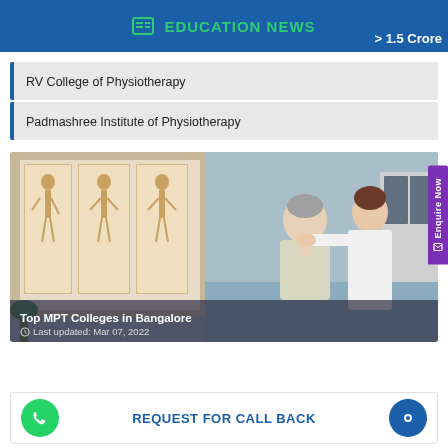EDUCATION NEWS | > 1.5 Crore
RV College of Physiotherapy
Padmashree Institute of Physiotherapy
[Figure (photo): A physiotherapist treating a patient's neck/back, with anatomical body charts on the wall in the background]
Top MPT Colleges in Bangalore
Last updated: Mar 07, 2022
REQUEST FOR CALL BACK